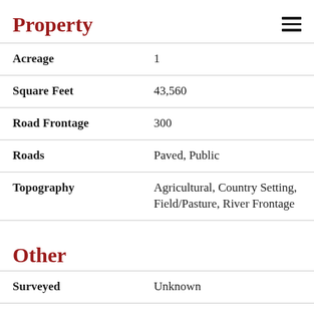Property
| Field | Value |
| --- | --- |
| Acreage | 1 |
| Square Feet | 43,560 |
| Road Frontage | 300 |
| Roads | Paved, Public |
| Topography | Agricultural, Country Setting, Field/Pasture, River Frontage |
Other
| Field | Value |
| --- | --- |
| Surveyed | Unknown |
| Zoning | Cabot |
Ask A Question